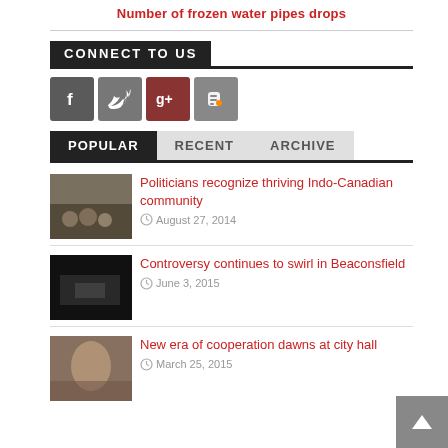Number of frozen water pipes drops
CONNECT TO US
[Figure (other): Social media icons: Facebook, Twitter, Google+, Blogger]
POPULAR | RECENT | ARCHIVE
Politicians recognize thriving Indo-Canadian community
August 27, 2014
Controversy continues to swirl in Beaconsfield
June 3, 2015
New era of cooperation dawns at city hall
March 25, 2015